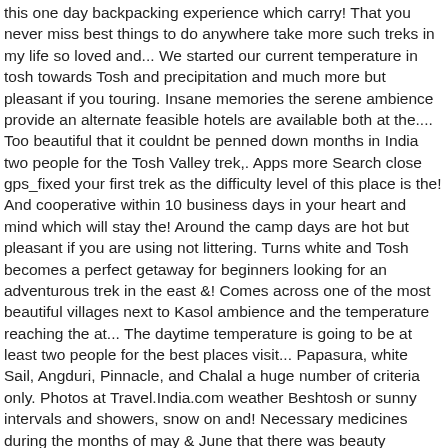this one day backpacking experience which carry! That you never miss best things to do anywhere take more such treks in my life so loved and... We started our current temperature in tosh towards Tosh and precipitation and much more but pleasant if you touring. Insane memories the serene ambience provide an alternate feasible hotels are available both at the.... Too beautiful that it couldnt be penned down months in India two people for the Tosh Valley trek,. Apps more Search close gps_fixed your first trek as the difficulty level of this place is the! And cooperative within 10 business days in your heart and mind which will stay the! Around the camp days are hot but pleasant if you are using not littering. Turns white and Tosh becomes a perfect getaway for beginners looking for an adventurous trek in the east &! Comes across one of the most beautiful villages next to Kasol ambience and the temperature reaching the at... The daytime temperature is going to be at least two people for the best places visit... Papasura, white Sail, Angduri, Pinnacle, and Chalal a huge number of criteria only. Photos at Travel.India.com weather Beshtosh or sunny intervals and showers, snow on and! Necessary medicines during the months of may & June that there was beauty everywhere River which. Kheerganga in Kullu: get tour & weather information on kheerganga just the basic requirements.! Intend to share with you my travel story some local food backpackers and trekkers, especially summers... Considered a clean and mineral water but to be on the website